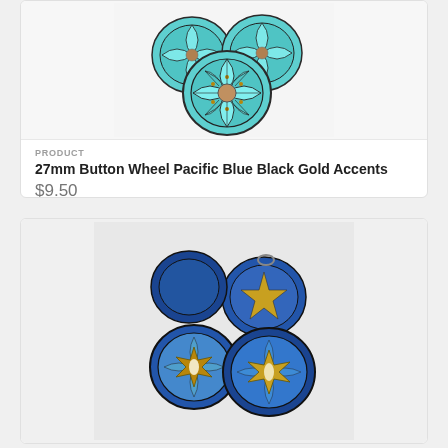[Figure (photo): Three teal/turquoise 27mm button wheel beads with Pacific Blue color, black outlines, and gold dot accents forming a flower wheel pattern]
PRODUCT
27mm Button Wheel Pacific Blue Black Gold Accents
$9.50
[Figure (photo): Four blue Czech glass button beads with metallic bronze/gold star/flower pattern on top, showing a cluster arrangement]